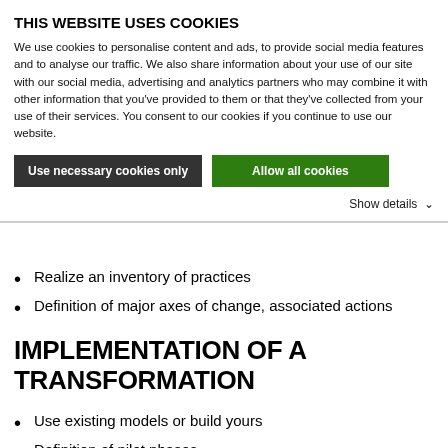THIS WEBSITE USES COOKIES
We use cookies to personalise content and ads, to provide social media features and to analyse our traffic. We also share information about your use of our site with our social media, advertising and analytics partners who may combine it with other information that you've provided to them or that they've collected from your use of their services. You consent to our cookies if you continue to use our website.
[Figure (other): Two buttons: 'Use necessary cookies only' (dark/black background) and 'Allow all cookies' (green background)]
Show details ∨
Realize an inventory of practices
Definition of major axes of change, associated actions
IMPLEMENTATION OF A TRANSFORMATION
Use existing models or build yours
Definition of pilot phases
Setting goals and knowing how to measure as and